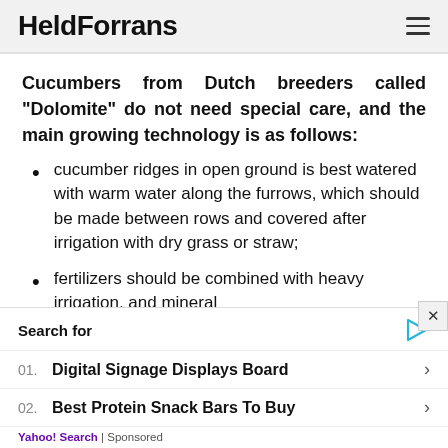HeldForrans
Cucumbers from Dutch breeders called "Dolomite" do not need special care, and the main growing technology is as follows:
cucumber ridges in open ground is best watered with warm water along the furrows, which should be made between rows and covered after irrigation with dry grass or straw;
fertilizers should be combined with heavy irrigation, and mineral
Search for
01. Digital Signage Displays Board
02. Best Protein Snack Bars To Buy
Yahoo! Search | Sponsored